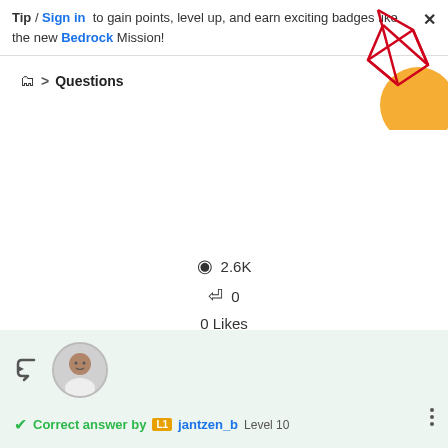Tip / Sign in to gain points, level up, and earn exciting badges like the new Bedrock Mission!
[Figure (illustration): Decorative geometric graphic with red polygon lines and an orange circle in the top right corner]
📁 > Questions
👁 2.6K
↩ 0
0 Likes
🌐 Translate
Reply
Correct answer by jantzen_b Level 10